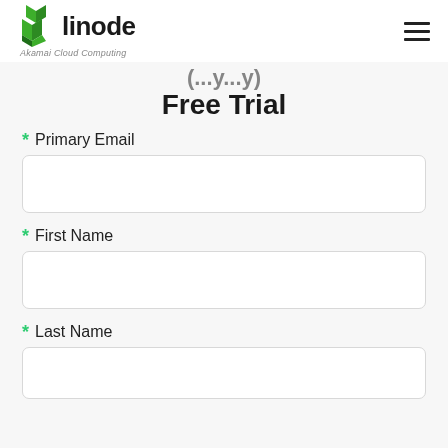linode — Akamai Cloud Computing
Free Trial
* Primary Email
* First Name
* Last Name